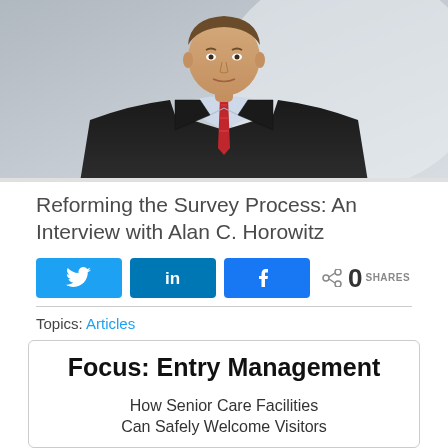[Figure (photo): Portrait photo of a man in a dark suit with a red striped tie, light blue shirt, cropped from shoulders up, blurred light background]
Reforming the Survey Process: An Interview with Alan C. Horowitz
[Figure (infographic): Social sharing buttons: Twitter (bird icon), LinkedIn (in icon), Facebook (f icon), and share count showing 0 SHARES]
Topics: Articles
Focus: Entry Management
How Senior Care Facilities Can Safely Welcome Visitors